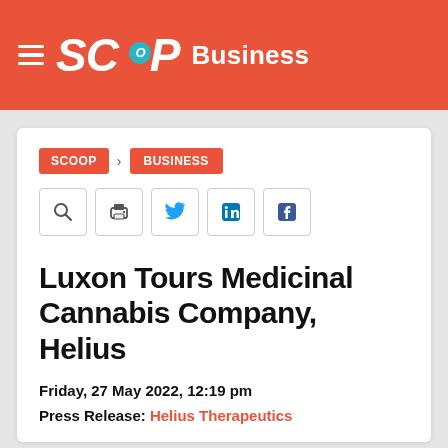SCOOP Business
SCOOP > BUSINESS
Luxon Tours Medicinal Cannabis Company, Helius
Friday, 27 May 2022, 12:19 pm
Press Release: Helius Therapeutics